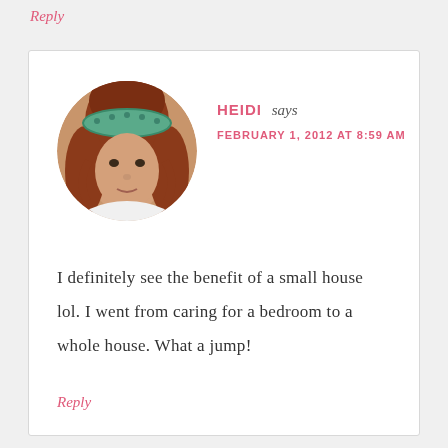Reply
[Figure (photo): Circular avatar photo of a young woman with long curly red hair wearing a green patterned headband and a white top]
HEIDI says
FEBRUARY 1, 2012 AT 8:59 AM
I definitely see the benefit of a small house lol. I went from caring for a bedroom to a whole house. What a jump!
Reply